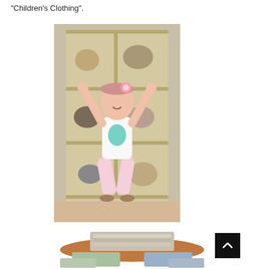“Children’s Clothing”.
[Figure (photo): Young girl with arms raised, wearing a white mermaid-print tank top and pink printed leggings, standing in a toy store with shelves of stuffed animals in the background.]
[Figure (photo): Folded children's clothing items stacked on a round wooden display table, with more clothes visible in the foreground.]